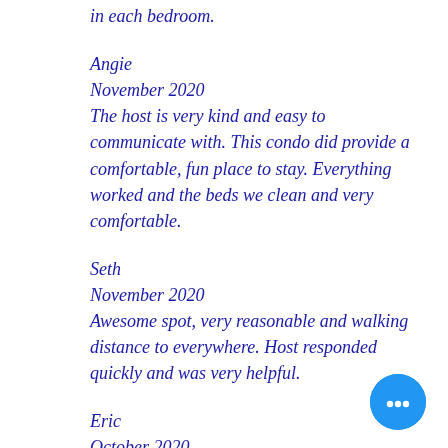in each bedroom.
Angie
November 2020
The host is very kind and easy to communicate with. This condo did provide a comfortable, fun place to stay. Everything worked and the beds we clean and very comfortable.
Seth
November 2020
Awesome spot, very reasonable and walking distance to everywhere. Host responded quickly and was very helpful.
Eric
October 2020